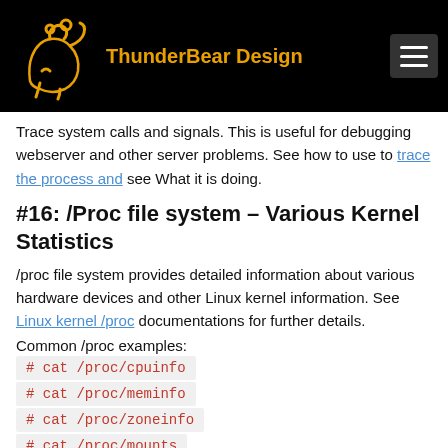ThunderBear Design
Trace system calls and signals. This is useful for debugging webserver and other server problems. See how to use to trace the process and see What it is doing.
#16: /Proc file system – Various Kernel Statistics
/proc file system provides detailed information about various hardware devices and other Linux kernel information. See Linux kernel /proc documentations for further details.
Common /proc examples:
# cat /proc/cpuinfo
# cat /proc/meminfo
# cat /proc/zoneinfo
# cat /proc/mounts